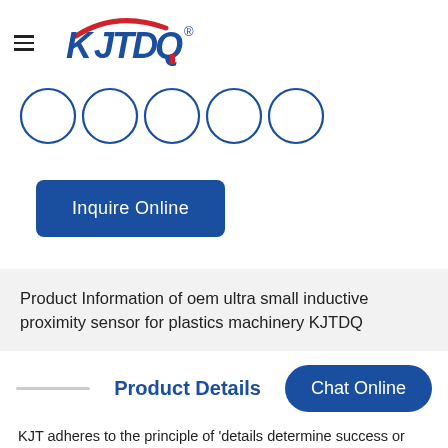[Figure (logo): KJTDQ company logo — bold blue italic letters with a red stylized arc accent and registered trademark symbol]
[Figure (illustration): Five empty circles arranged in a horizontal row, outlined in blue]
Inquire Online
Product Information of oem ultra small inductive proximity sensor for plastics machinery KJTDQ
Product Details
Chat Online
KJT adheres to the principle of 'details determine success or failure' and pays